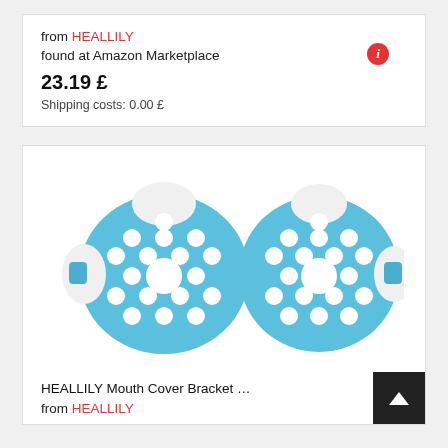from HEALLILY
found at Amazon Marketplace
23.19 £
Shipping costs: 0.00 £
[Figure (photo): Two blue HEALLILY mouth cover bracket products side by side, showing circular ventilation holes pattern on a light blue silicone mask shape.]
HEALLILY Mouth Cover Bracket …
from HEALLILY